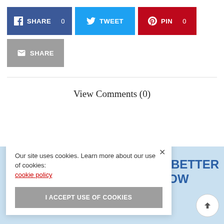[Figure (infographic): Social share buttons: Facebook SHARE 0, Twitter TWEET, Pinterest PIN 0, Email SHARE]
View Comments (0)
[Figure (screenshot): Cookie consent popup saying: Our site uses cookies. Learn more about our use of cookies: cookie policy. With a button: I ACCEPT USE OF COOKIES. Background shows partial text: A BETTER ... NOW]
Our site uses cookies. Learn more about our use of cookies: cookie policy
I ACCEPT USE OF COOKIES